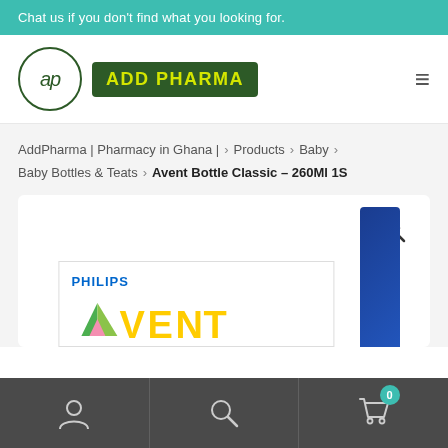Chat us if you don't find what you looking for.
[Figure (logo): AddPharma pharmacy logo: circle with 'ap' text next to a dark green rectangle with yellow 'ADD PHARMA' text]
AddPharma | Pharmacy in Ghana | > Products > Baby > Baby Bottles & Teats > Avent Bottle Classic – 260Ml 1S
[Figure (photo): Philips Avent product box showing PHILIPS AVENT logo with colorful triangular A and blue bottle accent, with zoom magnifier icon]
[Figure (infographic): Bottom navigation bar with user icon, search icon, and cart icon with teal badge showing 0]